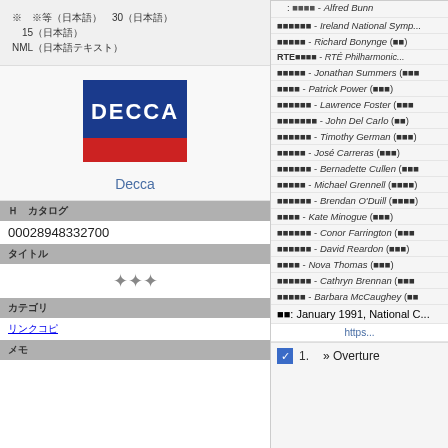※ (Japanese characters) 30 (Japanese) 15 (Japanese). NML (Japanese characters)
[Figure (logo): Decca record label logo - blue rectangle with white DECCA text and red stripe below]
Decca
00028948332700
(Japanese) - Alfred Bunn
(Japanese) - Ireland National Symp...
(Japanese) - Richard Bonynge (Japanese)
RTE(Japanese) - RTÉ Philharmonic...
(Japanese) - Jonathan Summers (Japanese)
(Japanese) - Patrick Power (Japanese)
(Japanese) - Lawrence Foster (Japanese)
(Japanese) - John Del Carlo (Japanese)
(Japanese) - Timothy German (Japanese)
(Japanese) - José Carreras (Japanese)
(Japanese) - Bernadette Cullen (Japanese)
(Japanese) - Michael Grennell (Japanese)
(Japanese) - Brendan O'Duill (Japanese)
(Japanese) - Kate Minogue (Japanese)
(Japanese) - Conor Farrington (Japanese)
(Japanese) - David Reardon (Japanese)
(Japanese) - Nova Thomas (Japanese)
(Japanese) - Cathryn Brennan (Japanese)
(Japanese) - Barbara McCaughey (Japanese)
(Japanese): January 1991, National C...
https...
1. » Overture